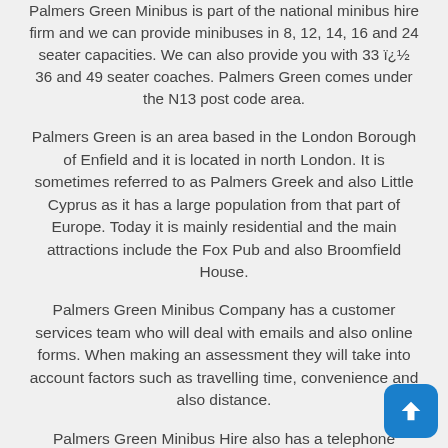Palmers Green Minibus is part of the national minibus hire firm and we can provide minibuses in 8, 12, 14, 16 and 24 seater capacities. We can also provide you with 33 ï¿½ 36 and 49 seater coaches. Palmers Green comes under the N13 post code area.
Palmers Green is an area based in the London Borough of Enfield and it is located in north London. It is sometimes referred to as Palmers Greek and also Little Cyprus as it has a large population from that part of Europe. Today it is mainly residential and the main attractions include the Fox Pub and also Broomfield House.
Palmers Green Minibus Company has a customer services team who will deal with emails and also online forms. When making an assessment they will take into account factors such as travelling time, convenience and also distance.
Palmers Green Minibus Hire also has a telephone helpline who will provide instant quotes as well as taking payments, ascertaining meeting points and confirming that all details are correct.
Our two main services come under the headings of Palmers Green Minibus Hire and also Palmers Green Coach Hire. The